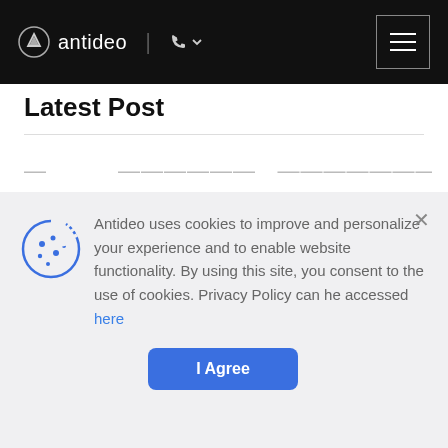[Figure (logo): Antideo logo with icon and text 'antideo', navigation bar with phone icon and hamburger menu button, black background header]
Latest Post
Antideo uses cookies to improve and personalize your experience and to enable website functionality. By using this site, you consent to the use of cookies. Privacy Policy can he accessed here
I Agree